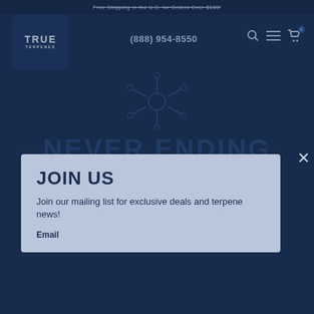Free Shipping in the U.S. for Orders Over $100!
[Figure (logo): True Terpenes logo — white bold text on dark blue rounded square]
(888) 954-8550
[Figure (illustration): Faded snowflake/bug outline illustration on dark blue background]
NEVER ENDING
[Figure (screenshot): Modal popup with light blue-gray background. Contains JOIN US heading, body text 'Join our mailing list for exclusive deals and terpene news!', and Email label. Close X button in top right.]
JOIN US
Join our mailing list for exclusive deals and terpene news!
Email